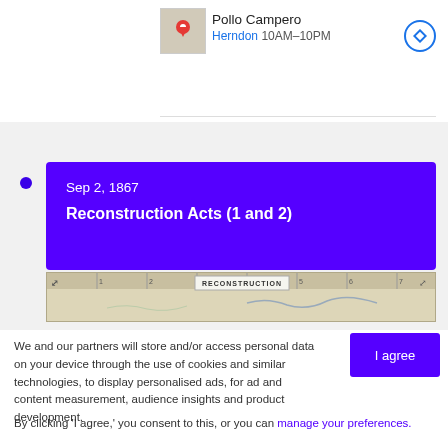Pollo Campero
Herndon 10AM–10PM
[Figure (screenshot): Purple event card: Sep 2, 1867 - Reconstruction Acts (1 and 2), with map strip below showing RECONSTRUCTION label]
We and our partners will store and/or access personal data on your device through the use of cookies and similar technologies, to display personalised ads, for ad and content measurement, audience insights and product development.
By clicking 'I agree,' you consent to this, or you can manage your preferences.